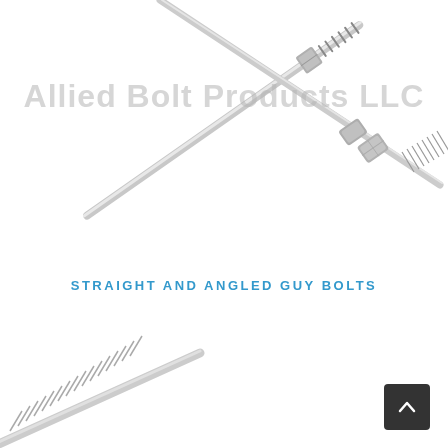[Figure (photo): A long straight metallic guy bolt with a threaded end and a hex nut, photographed diagonally from upper-left to lower-right on a white background]
Allied Bolt Products LLC
STRAIGHT AND ANGLED GUY BOLTS
[Figure (photo): Close-up of the threaded end of a metallic bolt, partially cropped at the bottom of the page]
[Figure (other): Dark scroll-to-top button with an upward chevron arrow in the bottom-right corner]